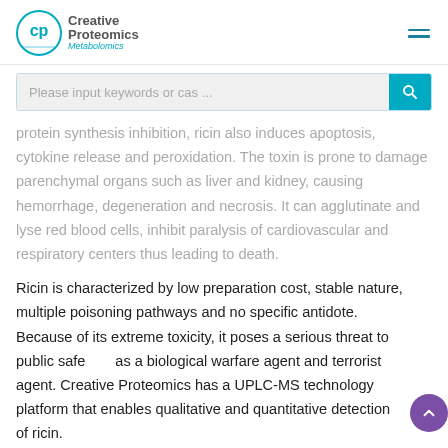Creative Proteomics Metabolomics
Please input keywords or cas ...
protein synthesis inhibition, ricin also induces apoptosis, cytokine release and peroxidation. The toxin is prone to damage parenchymal organs such as liver and kidney, causing hemorrhage, degeneration and necrosis. It can agglutinate and lyse red blood cells, inhibit paralysis of cardiovascular and respiratory centers thus leading to death.
Ricin is characterized by low preparation cost, stable nature, multiple poisoning pathways and no specific antidote. Because of its extreme toxicity, it poses a serious threat to public safety as a biological warfare agent and terrorist agent. Creative Proteomics has a UPLC-MS technology platform that enables qualitative and quantitative detection of ricin.